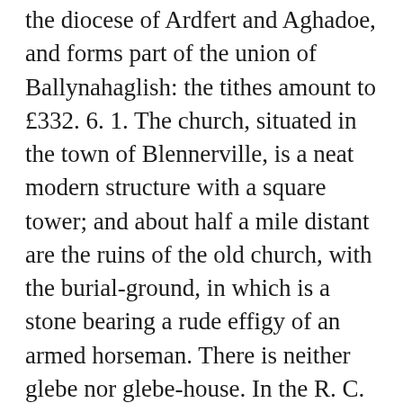the diocese of Ardfert and Aghadoe, and forms part of the union of Ballynahaglish: the tithes amount to £332. 6. 1. The church, situated in the town of Blennerville, is a neat modern structure with a square tower; and about half a mile distant are the ruins of the old church, with the burial-ground, in which is a stone bearing a rude effigy of an armed horseman. There is neither glebe nor glebe-house. In the R. C. divisions it is included in the unions of Tralee and Bally-macelligot; the chapel is at Curragheen, 1½ mile to the west of Blennerville. A school is supported by the R. C. clergyman; and at Curragrague is one under the Trustees of Erasmus Smith's charity; in which, together, are about 170